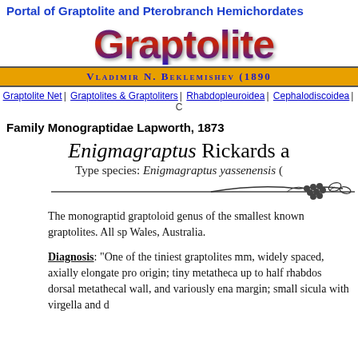Portal of Graptolite and Pterobranch Hemichordates
[Figure (logo): Graptolite.net logo text in large bold blue/red gradient font]
Vladimir N. Beklemishev (1890...
Graptolite Net | Graptolites & Graptoliters | Rhabdopleuroidea | Cephalodiscoidea | C...
Family Monograptidae Lapworth, 1873
Enigmagraptus Rickards a...
Type species: Enigmagraptus yassenensis ...
[Figure (illustration): Decorative vine/grape ornamental divider line]
The monograptid graptoloid genus ... of the smallest known graptolites. All sp... Wales, Australia.
Diagnosis: "One of the tiniest graptolites... mm, widely spaced, axially elongate pro... origin; tiny metatheca up to half rhabdos... dorsal metathecal wall, and variously ena... margin; small sicula with virgella and d...